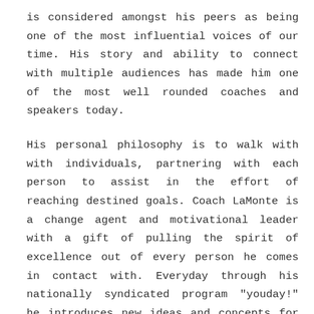is considered amongst his peers as being one of the most influential voices of our time. His story and ability to connect with multiple audiences has made him one of the most well rounded coaches and speakers today.
His personal philosophy is to walk with with individuals, partnering with each person to assist in the effort of reaching destined goals. Coach LaMonte is a change agent and motivational leader with a gift of pulling the spirit of excellence out of every person he comes in contact with. Everyday through his nationally syndicated program "youday!" he introduces new ideas and concepts for personal growth, walking viewers through the process of self